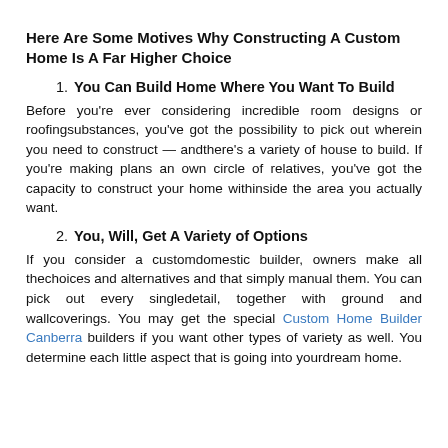Here Are Some Motives Why Constructing A Custom Home Is A Far Higher Choice
1. You Can Build Home Where You Want To Build
Before you're ever considering incredible room designs or roofingsubstances, you've got the possibility to pick out wherein you need to construct — andthere's a variety of house to build. If you're making plans an own circle of relatives, you've got the capacity to construct your home withinside the area you actually want.
2. You, Will, Get A Variety of Options
If you consider a customdomestic builder, owners make all thechoices and alternatives and that simply manual them. You can pick out every singledetail, together with ground and wallcoverings. You may get the special Custom Home Builder Canberra builders if you want other types of variety as well. You determine each little aspect that is going into yourdream home.